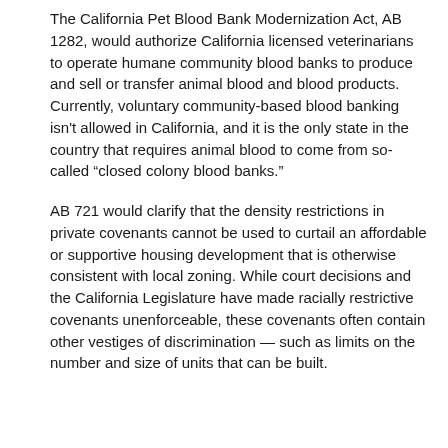The California Pet Blood Bank Modernization Act, AB 1282, would authorize California licensed veterinarians to operate humane community blood banks to produce and sell or transfer animal blood and blood products. Currently, voluntary community-based blood banking isn't allowed in California, and it is the only state in the country that requires animal blood to come from so-called “closed colony blood banks.”
AB 721 would clarify that the density restrictions in private covenants cannot be used to curtail an affordable or supportive housing development that is otherwise consistent with local zoning. While court decisions and the California Legislature have made racially restrictive covenants unenforceable, these covenants often contain other vestiges of discrimination — such as limits on the number and size of units that can be built.